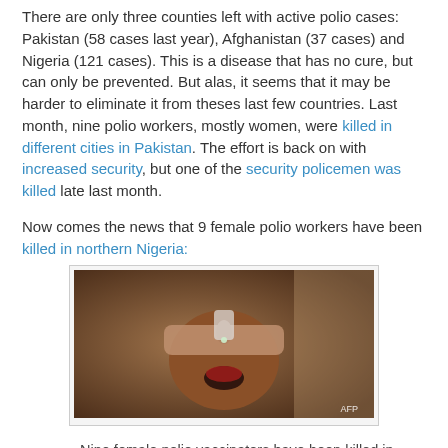There are only three counties left with active polio cases: Pakistan (58 cases last year), Afghanistan (37 cases) and Nigeria (121 cases). This is a disease that has no cure, but can only be prevented. But alas, it seems that it may be harder to eliminate it from theses last few countries. Last month, nine polio workers, mostly women, were killed in different cities in Pakistan. The effort is back on with increased security, but one of the security policemen was killed late last month.
Now comes the news that 9 female polio workers have been killed in northern Nigeria:
[Figure (photo): A photograph showing a child receiving oral polio vaccine drops from a healthcare worker's hand. AFP watermark visible in bottom right corner.]
Nine female polio vaccinators have been killed in two shootings at health centres in northern Nigeria, police have told the BBC.